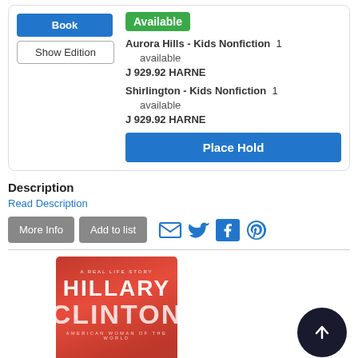Available
Aurora Hills - Kids Nonfiction  1 available
J 929.92 HARNE
Shirlington - Kids Nonfiction  1 available
J 929.92 HARNE
Place Hold
Book
Show Edition
Description
Read Description
More Info
Add to list
[Figure (photo): Book cover for Hillary Clinton: American Woman of the World - A Real Life Story, shown with Hillary Clinton smiling on a red-toned cover]
[Figure (other): Dark circular scroll-to-top button with upward arrow icon]